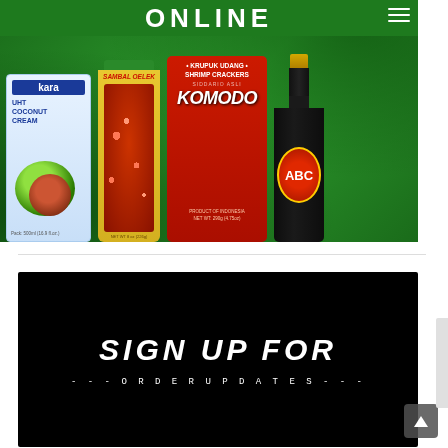[Figure (photo): Promotional banner showing Indonesian food products on a green tropical leaf background: Kara UHT Coconut Cream box, Sambal Oelek jar, Komodo Krupuk Udang (Shrimp Crackers) bag by ABC soy sauce bottle]
[Figure (photo): Black banner with white text reading SIGN UP FOR in large uppercase italic letters, followed by decorative text below]